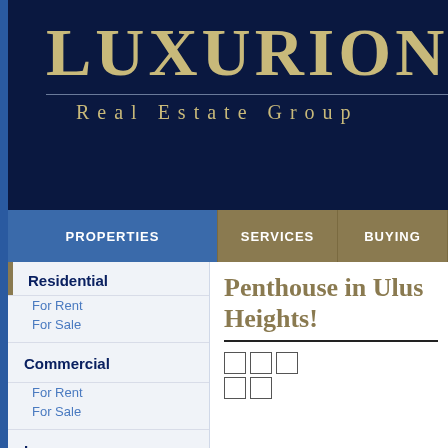[Figure (logo): Luxurion Real Estate Group logo on dark navy background with gold/tan text]
PROPERTIES | SERVICES | BUYING | SELL
Residential
For Rent
For Sale
Commercial
For Rent
For Sale
Luxury
Investment
Short-Term
E-Alert
To find more
Penthouse in Ulus Heights!
[Figure (other): Thumbnail image placeholders (5 small squares in two rows)]